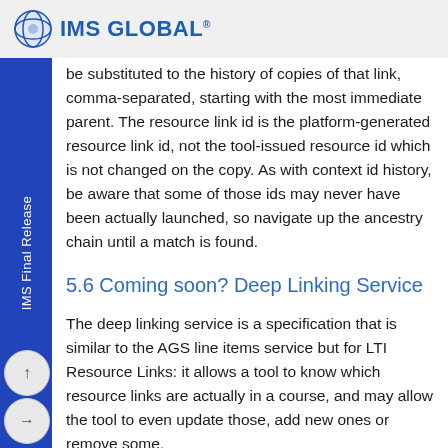IMS GLOBAL
be substituted to the history of copies of that link, comma-separated, starting with the most immediate parent. The resource link id is the platform-generated resource link id, not the tool-issued resource id which is not changed on the copy. As with context id history, be aware that some of those ids may never have been actually launched, so navigate up the ancestry chain until a match is found.
5.6 Coming soon? Deep Linking Service
The deep linking service is a specification that is similar to the AGS line items service but for LTI Resource Links: it allows a tool to know which resource links are actually in a course, and may allow the tool to even update those, add new ones or remove some.